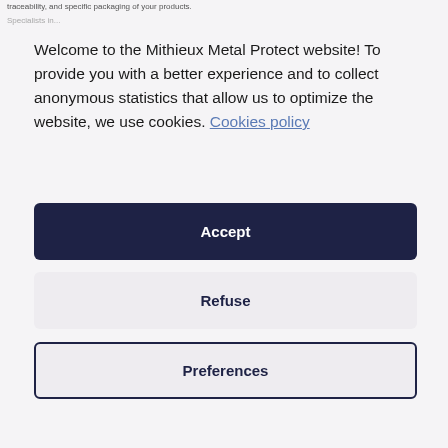traceability, and specific packaging of your products.
Specialists in...
Welcome to the Mithieux Metal Protect website! To provide you with a better experience and to collect anonymous statistics that allow us to optimize the website, we use cookies. Cookies policy
Accept
Refuse
Preferences